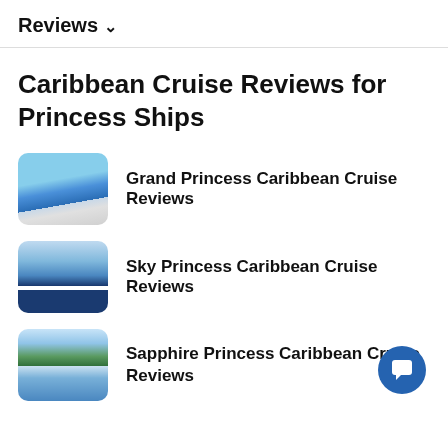Reviews ∨
Caribbean Cruise Reviews for Princess Ships
Grand Princess Caribbean Cruise Reviews
Sky Princess Caribbean Cruise Reviews
Sapphire Princess Caribbean Cruise Reviews